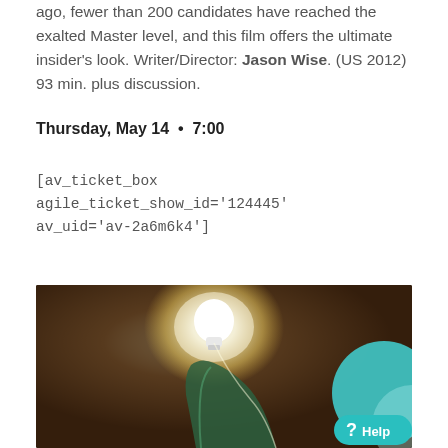ago, fewer than 200 candidates have reached the exalted Master level, and this film offers the ultimate insider's look. Writer/Director: Jason Wise. (US 2012) 93 min. plus discussion.
Thursday, May 14  •  7:00
[av_ticket_box agile_ticket_show_id='124445' av_uid='av-2a6m6k4']
[Figure (photo): A glowing light bulb held above a green glass bottle, against a dark warm background, with a teal circular UI element partially visible at right.]